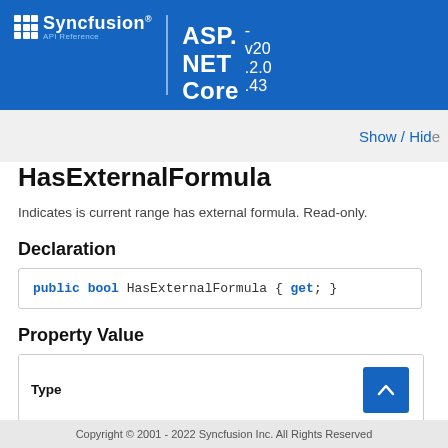Syncfusion API Reference ASP.NET Core v20.2.0.43
Show / Hide
HasExternalFormula
Indicates is current range has external formula. Read-only.
Declaration
Property Value
| Type |
| --- |
| System.Boolean |
Copyright © 2001 - 2022 Syncfusion Inc. All Rights Reserved